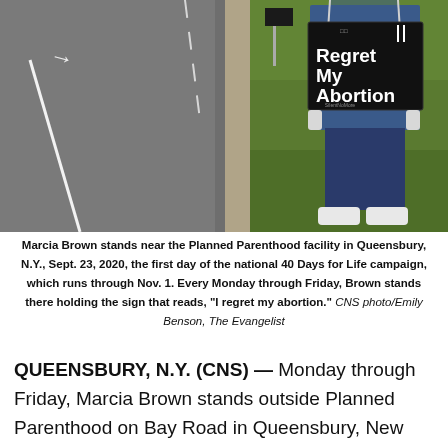[Figure (photo): Person holding a black sign reading 'Regret My Abortion' standing near road outside Planned Parenthood facility, with a road visible on the left and grass on the right.]
Marcia Brown stands near the Planned Parenthood facility in Queensbury, N.Y., Sept. 23, 2020, the first day of the national 40 Days for Life campaign, which runs through Nov. 1. Every Monday through Friday, Brown stands there holding the sign that reads, "I regret my abortion." CNS photo/Emily Benson, The Evangelist
QUEENSBURY, N.Y. (CNS) — Monday through Friday, Marcia Brown stands outside Planned Parenthood on Bay Road in Queensbury, New York.